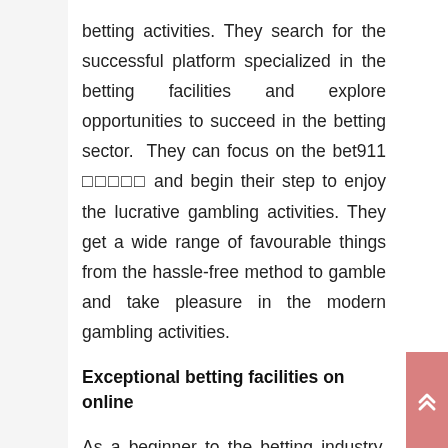betting activities. They search for the successful platform specialized in the betting facilities and explore opportunities to succeed in the betting sector. They can focus on the bet911 □□□□□ and begin their step to enjoy the lucrative gambling activities. They get a wide range of favourable things from the hassle-free method to gamble and take pleasure in the modern gambling activities.
Exceptional betting facilities on online
As a beginner to the betting industry, you may have an array of expectations regarding the profits and entertainment associated with the sports betting. They